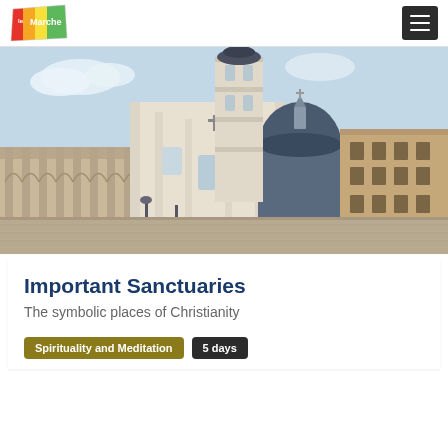leMarche logo and navigation menu
[Figure (photo): Photograph of the Basilica della Santa Casa in Loreto, Marche, Italy — a grand baroque church with ornate bell tower, large dome, and colonnaded piazza in the foreground. Blue sky background.]
Important Sanctuaries
The symbolic places of Christianity
Spirituality and Meditation
5 days